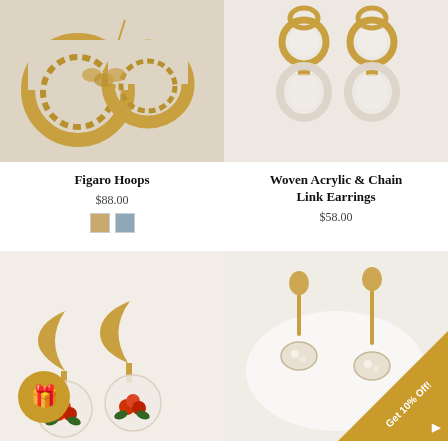[Figure (photo): Gold chain figaro hoop earrings on beige background]
Figaro Hoops
$88.00
[Figure (photo): Woven acrylic and gold chain link drop earrings on light background]
Woven Acrylic & Chain Link Earrings
$58.00
[Figure (photo): Gold crescent moon charm earrings with red rose in glass globe, with gift icon badge]
[Figure (photo): Gold drop earrings with pearl shell charm on white plate background, with Get 10% Off ribbon]